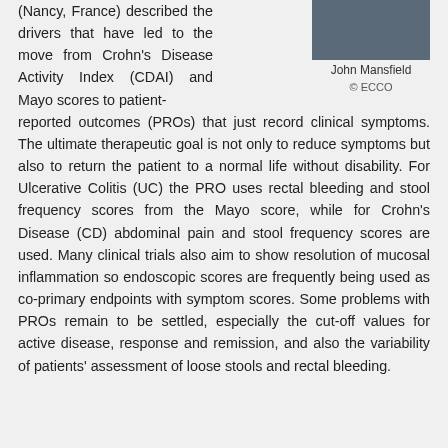[Figure (photo): Portrait photo of John Mansfield]
John Mansfield
© ECCO
(Nancy, France) described the drivers that have led to the move from Crohn's Disease Activity Index (CDAI) and Mayo scores to patient-reported outcomes (PROs) that just record clinical symptoms. The ultimate therapeutic goal is not only to reduce symptoms but also to return the patient to a normal life without disability. For Ulcerative Colitis (UC) the PRO uses rectal bleeding and stool frequency scores from the Mayo score, while for Crohn's Disease (CD) abdominal pain and stool frequency scores are used. Many clinical trials also aim to show resolution of mucosal inflammation so endoscopic scores are frequently being used as co-primary endpoints with symptom scores. Some problems with PROs remain to be settled, especially the cut-off values for active disease, response and remission, and also the variability of patients' assessment of loose stools and rectal bleeding.